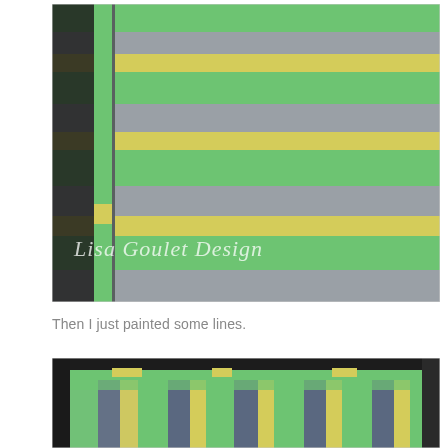[Figure (photo): Close-up photo of a surface with horizontal stripes of green, gray, and yellow masking tape applied as paint guides. Dark plastic sheeting visible on the left side. Watermark reads 'Lisa Goulet Design'.]
Then I just painted some lines.
[Figure (photo): Photo of a surface with vertical stripes of green, gray/blue, and yellow paint applied, showing the painting process with tape still partially in place and dark plastic sheeting in the background.]